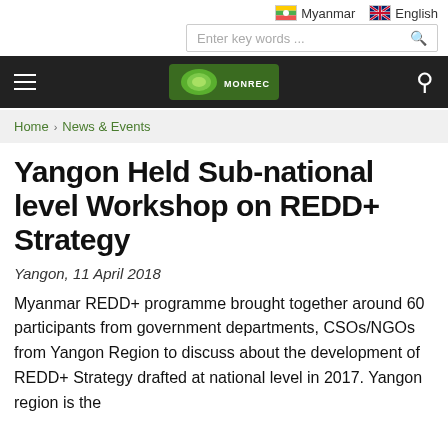Myanmar  English
Enter key words ...
Home › News & Events
Yangon Held Sub-national level Workshop on REDD+ Strategy
Yangon, 11 April 2018
Myanmar REDD+ programme brought together around 60 participants from government departments, CSOs/NGOs from Yangon Region to discuss about the development of REDD+ Strategy drafted at national level in 2017. Yangon region is the